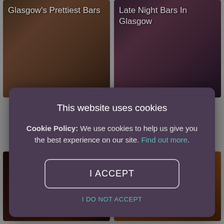[Figure (screenshot): Background website with two image cards at top: 'Glasgow's Prettiest Bars' and 'Late Night Bars In Glasgow', and two image cards at bottom showing bar/food scenes]
This website uses cookies
Cookie Policy: We use cookies to help us give you the best experience on our site. Find out more.
I ACCEPT
I DO NOT ACCEPT